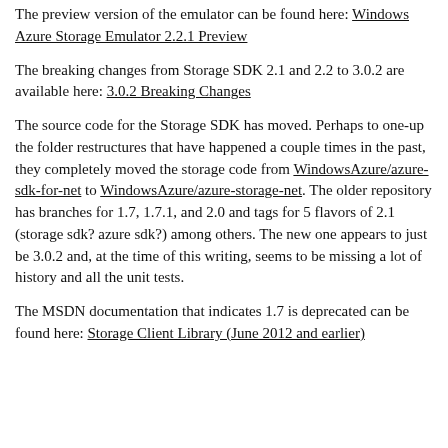The preview version of the emulator can be found here: Windows Azure Storage Emulator 2.2.1 Preview
The breaking changes from Storage SDK 2.1 and 2.2 to 3.0.2 are available here: 3.0.2 Breaking Changes
The source code for the Storage SDK has moved. Perhaps to one-up the folder restructures that have happened a couple times in the past, they completely moved the storage code from WindowsAzure/azure-sdk-for-net to WindowsAzure/azure-storage-net. The older repository has branches for 1.7, 1.7.1, and 2.0 and tags for 5 flavors of 2.1 (storage sdk? azure sdk?) among others. The new one appears to just be 3.0.2 and, at the time of this writing, seems to be missing a lot of history and all the unit tests.
The MSDN documentation that indicates 1.7 is deprecated can be found here: Storage Client Library (June 2012 and earlier)